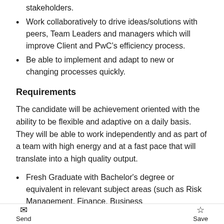stakeholders.
Work collaboratively to drive ideas/solutions with peers, Team Leaders and managers which will improve Client and PwC's efficiency process.
Be able to implement and adapt to new or changing processes quickly.
Requirements
The candidate will be achievement oriented with the ability to be flexible and adaptive on a daily basis. They will be able to work independently and as part of a team with high energy and at a fast pace that will translate into a high quality output.
Fresh Graduate with Bachelor's degree or equivalent in relevant subject areas (such as Risk Management, Finance, Business
Send  Save